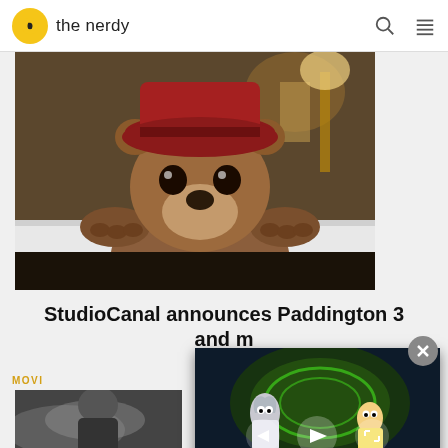the nerdy
[Figure (photo): Paddington bear character peeking over a bathtub edge, wearing a red hat, in a warm indoor scene]
StudioCanal announces Paddington 3 and ...
MOVI...
[Figure (screenshot): Rick and Morty animated video popup showing characters in a green portal swirl with play/pause controls]
NEW SEASONS OF RICK & MORTY WILL NOW RELEASE EVERY YEAR
[Figure (photo): Black and white photo of a man, partially visible]